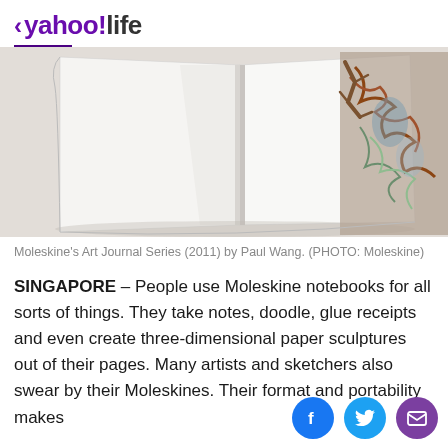< yahoo!life
[Figure (photo): Open Moleskine art journal showing blank white pages with a colorful illustration visible on the right side, photographed from above on a white surface.]
Moleskine's Art Journal Series (2011) by Paul Wang. (PHOTO: Moleskine)
SINGAPORE – People use Moleskine notebooks for all sorts of things. They take notes, doodle, glue receipts and even create three-dimensional paper sculptures out of their pages. Many artists and sketchers also swear by their Moleskines. Their format and portability makes